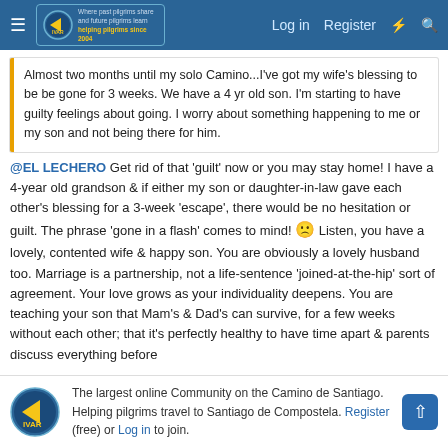Where past pilgrims share and future pilgrims learn helping pilgrims since 2004 | Log in | Register
Almost two months until my solo Camino...I've got my wife's blessing to be be gone for 3 weeks. We have a 4 yr old son. I'm starting to have guilty feelings about going. I worry about something happening to me or my son and not being there for him.
@EL LECHERO Get rid of that 'guilt' now or you may stay home! I have a 4-year old grandson & if either my son or daughter-in-law gave each other's blessing for a 3-week 'escape', there would be no hesitation or guilt. The phrase 'gone in a flash' comes to mind! 🙁 Listen, you have a lovely, contented wife & happy son. You are obviously a lovely husband too. Marriage is a partnership, not a life-sentence 'joined-at-the-hip' sort of agreement. Your love grows as your individuality deepens. You are teaching your son that Mam's & Dad's can survive, for a few weeks without each other; that it's perfectly healthy to have time apart & parents discuss everything before
The largest online Community on the Camino de Santiago. Helping pilgrims travel to Santiago de Compostela. Register (free) or Log in to join.